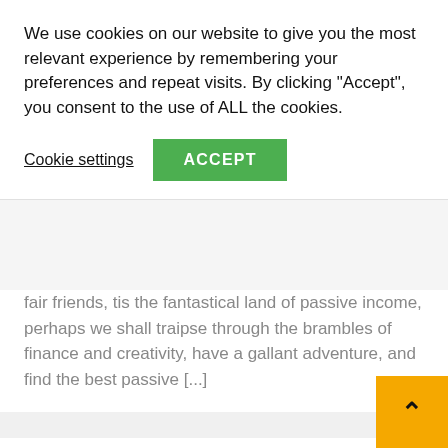We use cookies on our website to give you the most relevant experience by remembering your preferences and repeat visits. By clicking "Accept", you consent to the use of ALL the cookies.
Cookie settings
ACCEPT
fair friends, tis the fantastical land of passive income, perhaps we shall traipse through the brambles of finance and creativity, have a gallant adventure, and find the best passive [...]
The Oldest City in Every U.S. State
In Loans
[Figure (photo): Thumbnail image with dark overlay showing 'UNDED IN 1565!' text and a red arrow, with scenic background]
Although the United States didn't achieve independence from Great Britain until 1776, many cities in the country were settled hundreds of years earlier. European explorers began arriving on the shores of the U.S. in the early